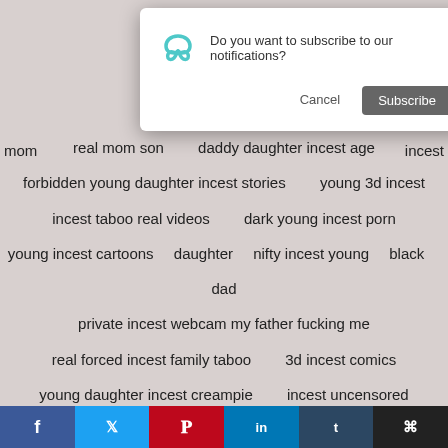[Figure (screenshot): Browser push notification dialog asking 'Do you want to subscribe to our notifications?' with a teal infinity/loop icon, Cancel button, and Subscribe button]
mom ... incest
real mom son   daddy daughter incest age
forbidden young daughter incest stories   young 3d incest
incest taboo real videos   dark young incest porn
young incest cartoons   daughter   nifty incest young   black   dad
private incest webcam my father fucking me
real forced incest family taboo   3d incest comics
young daughter incest creampie   incest uncensored
daddy and daughter incest cartoon sex video   incest extreme
forced beastiality incest stories   incest taboo forum
3d incest toon celebon   incest taboo mother
[Figure (screenshot): Social sharing bar at the bottom with Facebook, Twitter, Pinterest, LinkedIn, Tumblr, and share icons]